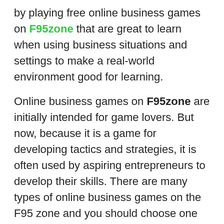by playing free online business games on F95zone that are great to learn when using business situations and settings to make a real-world environment good for learning.
Online business games on F95zone are initially intended for game lovers. But now, because it is a game for developing tactics and strategies, it is often used by aspiring entrepreneurs to develop their skills. There are many types of online business games on the F95 zone and you should choose one based on the type of business you are involved in. The following are the most common types of online business games that you can normally find:
| Table of Contents |
| 1. Cafe & Restaurant Games |
| 1.1. Real Estate Games |